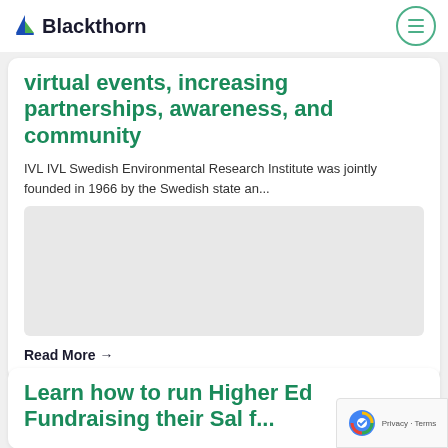Blackthorn
virtual events, increasing partnerships, awareness, and community
IVL IVL Swedish Environmental Research Institute was jointly founded in 1966 by the Swedish state an...
Read More →
Learn how to run Higher Ed Fundraising their Sal f...